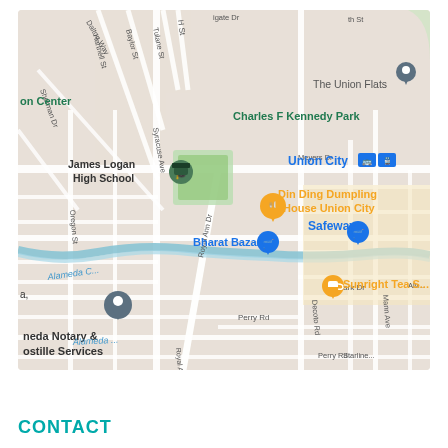[Figure (map): Google Maps screenshot showing Union City, CA area with landmarks including James Logan High School, Charles F Kennedy Park, The Union Flats, Din Ding Dumpling House Union City, Union City transit station, Bharat Bazar, Safeway, Sunright Tea, and Alameda Notary & Apostille Services. Streets visible include H St, Royal Ann Dr, Decoto Rd, Skylark Dr, Mann Ave, Perry Rd, Dalton Way, Hartnell St, Baylor St, Tulane St, Syracuse Ave, Oregon St, Sherman Dr, Meyers Dr, Starline, and Alameda Creek.]
CONTACT